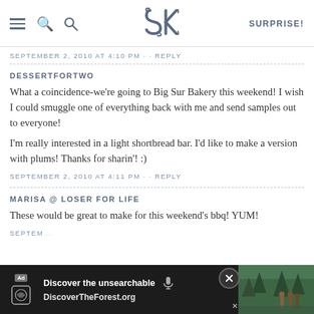SK [logo] SURPRISE!
SEPTEMBER 2, 2010 AT 4:10 PM · · REPLY
DESSERTFORTWO
What a coincidence-we're going to Big Sur Bakery this weekend! I wish I could smuggle one of everything back with me and send samples out to everyone!
I'm really interested in a light shortbread bar. I'd like to make a version with plums! Thanks for sharin'! :)
SEPTEMBER 2, 2010 AT 4:11 PM · · REPLY
MARISA @ LOSER FOR LIFE
These would be great to make for this weekend's bbq! YUM!
SEPTEM...
[Figure (screenshot): Ad overlay at bottom: 'Discover the unsearchable' with DiscoverTheForest.org and a forest photo with hikers. Close button visible.]